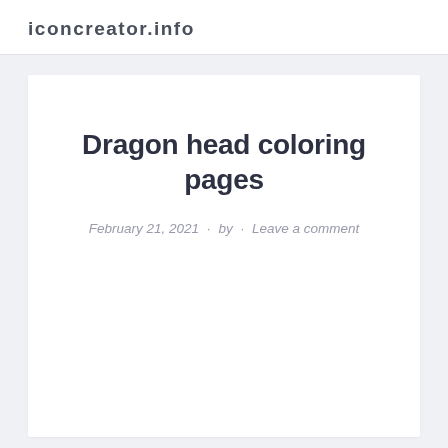iconcreator.info
Dragon head coloring pages
February 21, 2021 · by · Leave a comment